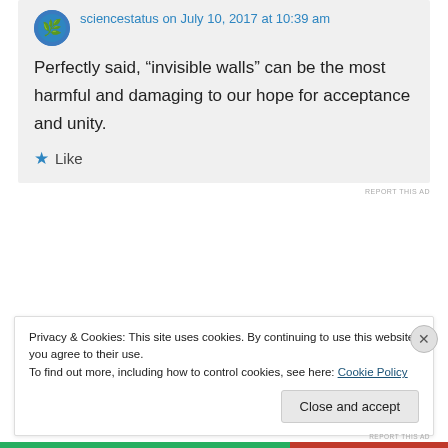sciencestatus on July 10, 2017 at 10:39 am
Perfectly said, “invisible walls” can be the most harmful and damaging to our hope for acceptance and unity.
★ Like
REPORT THIS AD
Privacy & Cookies: This site uses cookies. By continuing to use this website, you agree to their use.
To find out more, including how to control cookies, see here: Cookie Policy
Close and accept